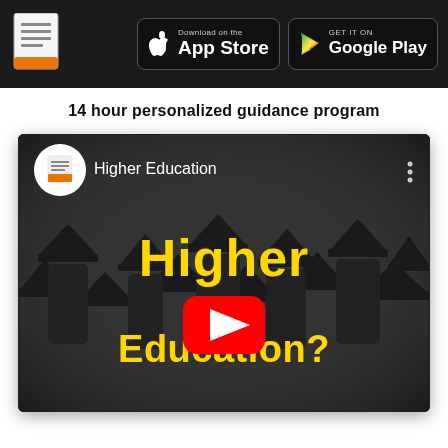App logo, Download on the App Store, GET IT ON Google Play
14 hour personalized guidance program
[Figure (screenshot): YouTube video thumbnail for 'Higher Education' channel showing graduates in caps and gowns, with yellow bold text 'Higher Education?' and a red YouTube play button in the center. Channel icon and name 'Higher Education' shown in top-left corner.]